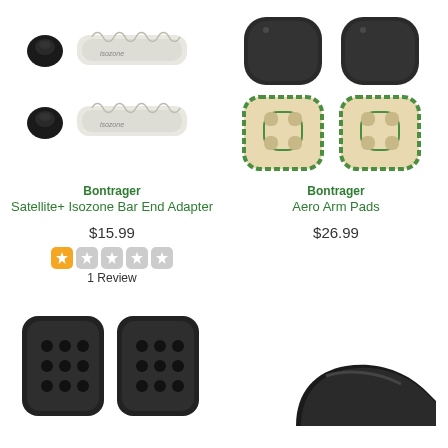[Figure (photo): Bontrager Satellite+ Isozone Bar End Adapter product images showing small black caps and white grip tubes in two rows]
Bontrager
Satellite+ Isozone Bar End Adapter
$15.99
[Figure (other): Star rating: 1 out of 5 stars (1 filled orange star, 4 empty gray stars)]
1 Review
[Figure (photo): Bontrager Aero Arm Pads showing two dark foam pads on top and two adhesive backing pads below]
Bontrager
Aero Arm Pads
$26.99
[Figure (photo): Two black perforated arm pads shown from above]
[Figure (photo): Partial view of a black curved handlebar component]